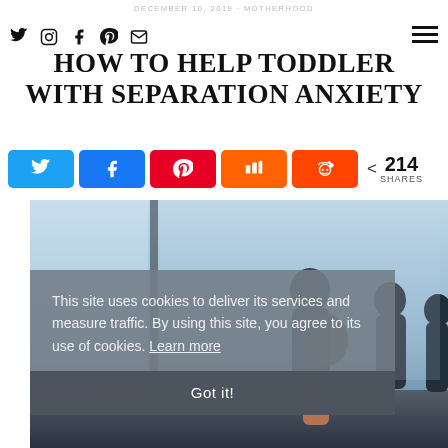DECEMBER 10, 2019 · MOTHERHOOD
HOW TO HELP TODDLER WITH SEPARATION ANXIETY
214 SHARES
[Figure (photo): Parents with toddler at an airport terminal, viewed from behind, with large windows and city view]
This site uses cookies to deliver its services and measure traffic. By using this site, you agree to its use of cookies. Learn more
Got it!